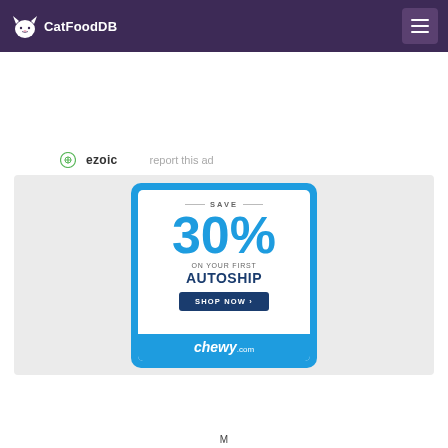CatFoodDB
[Figure (infographic): Ezoic ad label with icon and 'report this ad' link]
[Figure (infographic): Chewy.com advertisement banner: SAVE 30% ON YOUR FIRST AUTOSHIP - SHOP NOW - chewy.com]